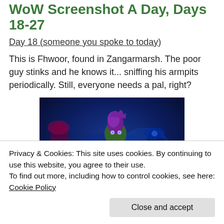WoW Screenshot A Day, Days 18-27
Day 18 (someone you spoke to today)
This is Fhwoor, found in Zangarmarsh. The poor guy stinks and he knows it... sniffing his armpits periodically. Still, everyone needs a pal, right?
[Figure (screenshot): World of Warcraft screenshot showing a character named Fhwoor in Zangarmarsh, a blue-hued zone with glowing mushrooms. A troll-like character with purple hair is shown in the foreground against a dark blue environment.]
Privacy & Cookies: This site uses cookies. By continuing to use this website, you agree to their use.
To find out more, including how to control cookies, see here: Cookie Policy